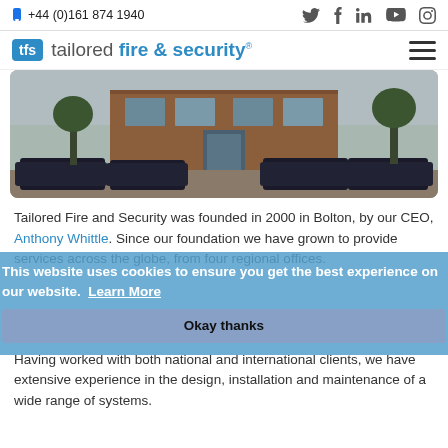+44 (0)161 874 1940
[Figure (logo): tfs tailored fire & security logo with hamburger menu icon]
[Figure (photo): Exterior photo of a brick office building with several dark-coloured vans parked in front]
Tailored Fire and Security was founded in 2000 in Bolton, by our CEO, Anthony Whittle. Since our foundation we have grown to provide services across the globe, from four regional offices.
This website uses cookies to ensure you get the best experience on our website.  Learn More
Okay thanks
Having worked with both national and international clients, we have extensive experience in the design, installation and maintenance of a wide range of systems.